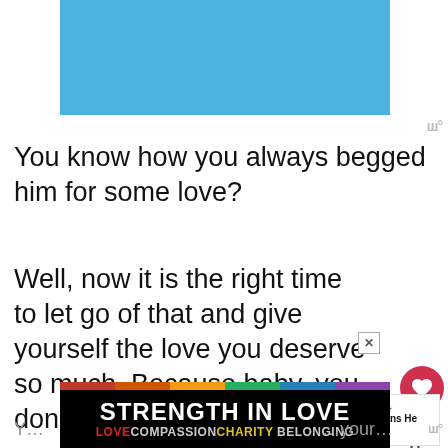[Figure (illustration): Blue banner/header image at the top of the page]
You know how you always begged him for some love?
Well, now it is the right time to let go of that and give yourself the love you deserve so much. Because baby, you don't need a man to complete you or give you what you need.
[Figure (illustration): Advertisement banner: STRENGTH IN LOVE with rainbow colors and subtext LOVE COMPASSION CHARITY BELONGING]